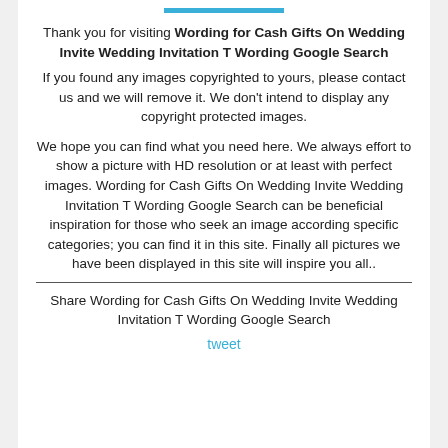Thank you for visiting Wording for Cash Gifts On Wedding Invite Wedding Invitation T Wording Google Search
If you found any images copyrighted to yours, please contact us and we will remove it. We don't intend to display any copyright protected images.
We hope you can find what you need here. We always effort to show a picture with HD resolution or at least with perfect images. Wording for Cash Gifts On Wedding Invite Wedding Invitation T Wording Google Search can be beneficial inspiration for those who seek an image according specific categories; you can find it in this site. Finally all pictures we have been displayed in this site will inspire you all..
Share Wording for Cash Gifts On Wedding Invite Wedding Invitation T Wording Google Search
tweet